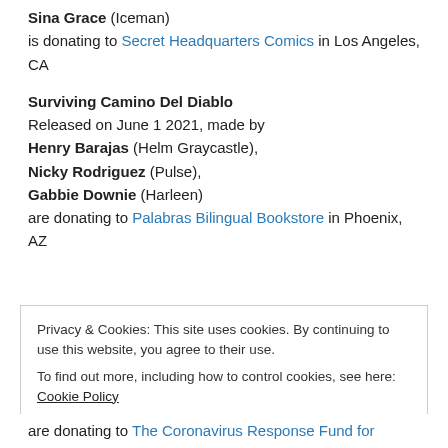Sina Grace (Iceman) is donating to Secret Headquarters Comics in Los Angeles, CA
Surviving Camino Del Diablo
Released on June 1 2021, made by
Henry Barajas (Helm Graycastle),
Nicky Rodriguez (Pulse),
Gabbie Downie (Harleen)
are donating to Palabras Bilingual Bookstore in Phoenix, AZ
Privacy & Cookies: This site uses cookies. By continuing to use this website, you agree to their use.
To find out more, including how to control cookies, see here: Cookie Policy
Close and accept
are donating to The Coronavirus Response Fund for